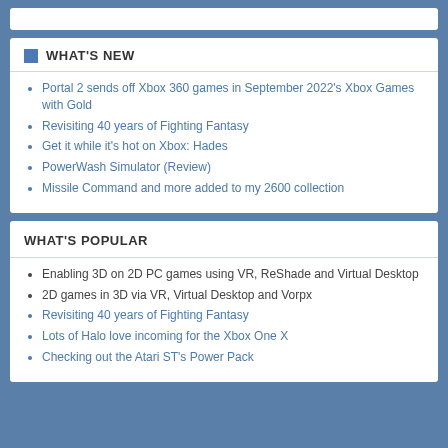WHAT'S NEW
Portal 2 sends off Xbox 360 games in September 2022's Xbox Games with Gold
Revisiting 40 years of Fighting Fantasy
Get it while it's hot on Xbox: Hades
PowerWash Simulator (Review)
Missile Command and more added to my 2600 collection
WHAT'S POPULAR
Enabling 3D on 2D PC games using VR, ReShade and Virtual Desktop
2D games in 3D via VR, Virtual Desktop and Vorpx
Revisiting 40 years of Fighting Fantasy
Lots of Halo love incoming for the Xbox One X
Checking out the Atari ST's Power Pack